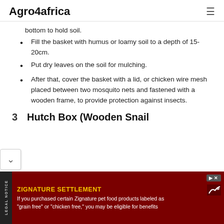Agro4africa
bottom to hold soil.
Fill the basket with humus or loamy soil to a depth of 15-20cm.
Put dry leaves on the soil for mulching.
After that, cover the basket with a lid, or chicken wire mesh placed between two mosquito nets and fastened with a wooden frame, to provide protection against insects.
3 Hutch Box (Wooden Snail
ZIGNATURE SETTLEMENT
If you purchased certain Zignature pet food products labeled as "grain free" or "chicken free," you may be eligible for benefits